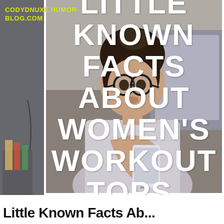[Figure (photo): Woman with glasses looking at smartphone, office background, grayscale/muted tones. Left strip shows blurred side view.]
CODYDNUXE.HUMOR-BLOG.COM
LITTLE KNOWN FACTS ABOUT WOMEN'S WORKOUT TOPS.
Little Known Facts Ab...